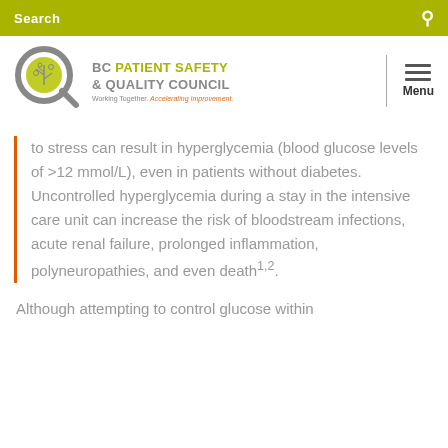Search
[Figure (logo): BC Patient Safety & Quality Council logo with tagline 'Working Together. Accelerating Improvement.']
to stress can result in hyperglycemia (blood glucose levels of >12 mmol/L), even in patients without diabetes. Uncontrolled hyperglycemia during a stay in the intensive care unit can increase the risk of bloodstream infections, acute renal failure, prolonged inflammation, polyneuropathies, and even death¹².
Although attempting to control glucose within